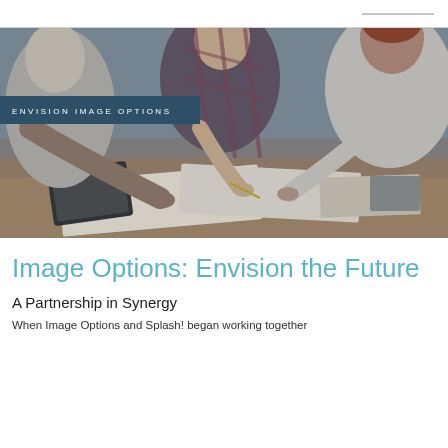[Figure (photo): Three people leaning over a table collaborating on documents and plans, with a tablet visible. A dark teal banner overlay reads 'ENVISION IMAGE OPTIONS' in white spaced capital letters.]
Image Options: Envision the Future
A Partnership in Synergy
When Image Options and Splash! began working together